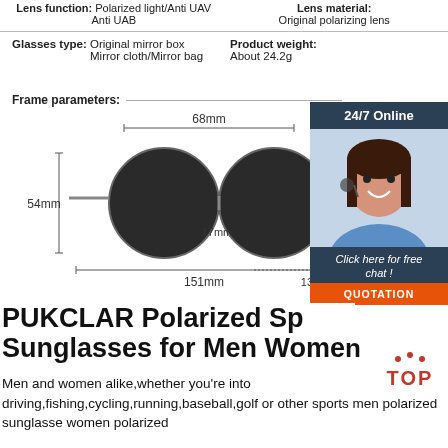Lens function: Polarized light/Anti UAV Anti UAB | Lens material: Original polarizing lens
Glasses type: Original mirror box Mirror cloth/Mirror bag | Product weight: About 24.2g
Frame parameters:
[Figure (engineering-diagram): Sunglasses frame dimensions diagram showing 68mm width, 54mm height, 17mm bridge, 151mm total width, 134mm arm length]
[Figure (photo): Customer service representative wearing headset - 24/7 Online chat widget with QUOTATION button]
PUKCLAR Polarized Sports Sunglasses for Men Women
Men and women alike,whether you're into driving,fishing,cycling,running,baseball,golf or other sports men polarized sunglasse women polarized